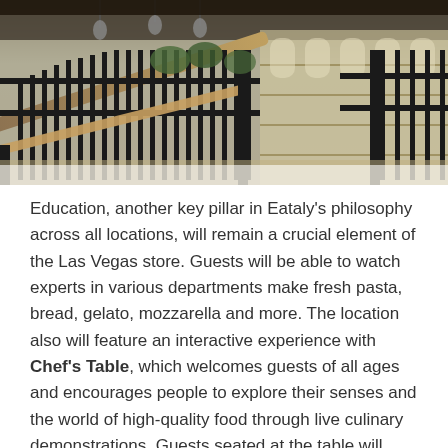[Figure (photo): Interior photo of Eataly restaurant/store showing a staircase with wooden handrail, black metal railings, hanging pendant lights, green plants, and shelving in the background.]
Education, another key pillar in Eataly's philosophy across all locations, will remain a crucial element of the Las Vegas store. Guests will be able to watch experts in various departments make fresh pasta, bread, gelato, mozzarella and more. The location also will feature an interactive experience with Chef's Table, which welcomes guests of all ages and encourages people to explore their senses and the world of high-quality food through live culinary demonstrations. Guests seated at the table will learn a variety of authentic cooking traditions ranging from how to shape gnocchi to understanding the difference between Toscana and Sicilia extra virgin olive oil.